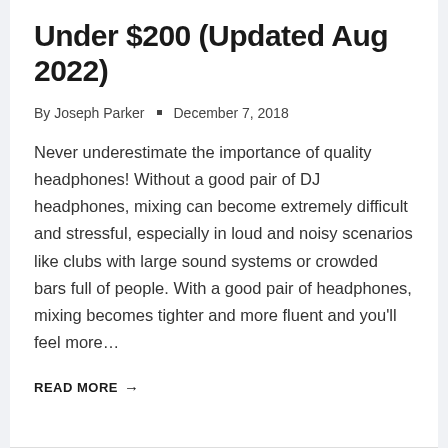Under $200 (Updated Aug 2022)
By Joseph Parker • December 7, 2018
Never underestimate the importance of quality headphones! Without a good pair of DJ headphones, mixing can become extremely difficult and stressful, especially in loud and noisy scenarios like clubs with large sound systems or crowded bars full of people. With a good pair of headphones, mixing becomes tighter and more fluent and you'll feel more…
READ MORE →